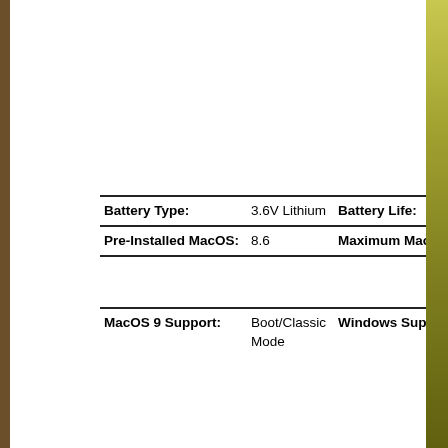| Field | Value | Field | Value |
| --- | --- | --- | --- |
| Battery Type: | 3.6V Lithium | Battery Life: | N/A |
| Pre-Installed MacOS: | 8.6 | Maximum MacOS: | X 1 |
| MacOS 9 Support: | Boot/Classic Mode | Windows Support: | Em
Onl |